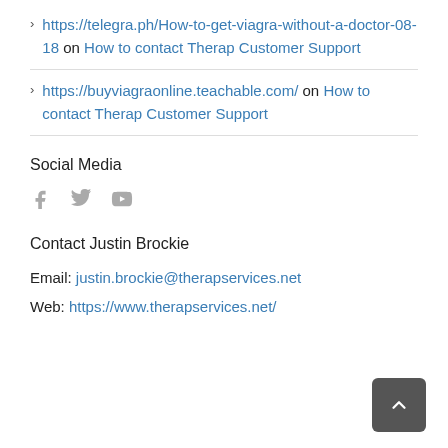https://telegra.ph/How-to-get-viagra-without-a-doctor-08-18 on How to contact Therap Customer Support
https://buyviagraonline.teachable.com/ on How to contact Therap Customer Support
Social Media
[Figure (other): Social media icons: Facebook, Twitter, YouTube]
Contact Justin Brockie
Email: justin.brockie@therapservices.net
Web: https://www.therapservices.net/